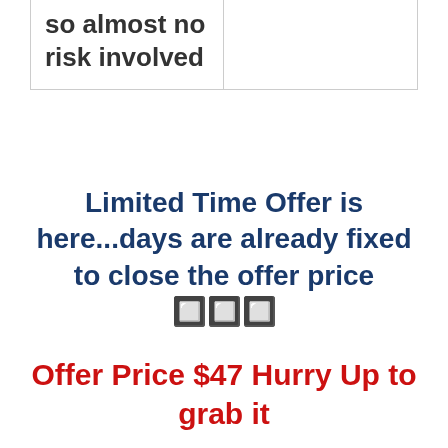| so almost no risk involved |  |
Limited Time Offer is here...days are already fixed to close the offer price 🔲🔲🔲
Offer Price $47 Hurry Up to grab it